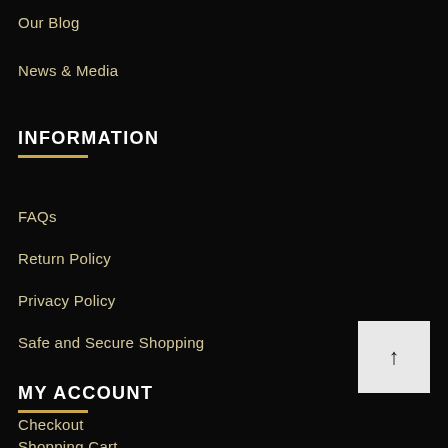Our Blog
News & Media
INFORMATION
FAQs
Return Policy
Privacy Policy
Safe and Secure Shopping
MY ACCOUNT
Checkout
Shopping Cart